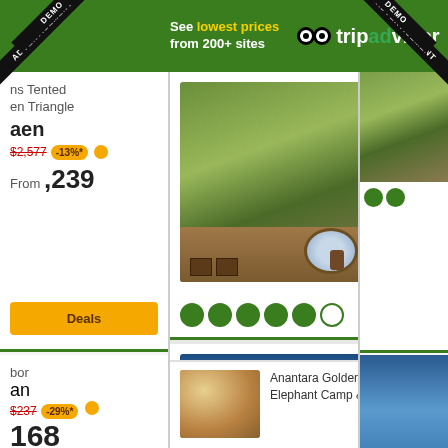See lowest prices from 200+ sites | tripadvisor
[Figure (screenshot): TripAdvisor hotel listing showing Four Seasons Tented Camp Golden Triangle in Chiang Saen with price from $2,239 and Blue Harbor Resort in Sheboygan from $168]
Four Seasons Tented Camp Golden Triangle
Chiang Saen
$2,577 -13%* From $2,239
View Deals
Blue Harbor Resort
Sheboygan
$237 -29%* From $168
View Deals
Anantara Golden Triangle Elephant Camp & Resort